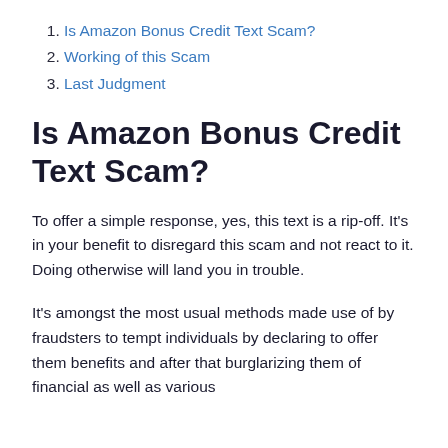1. Is Amazon Bonus Credit Text Scam?
2. Working of this Scam
3. Last Judgment
Is Amazon Bonus Credit Text Scam?
To offer a simple response, yes, this text is a rip-off. It’s in your benefit to disregard this scam and not react to it. Doing otherwise will land you in trouble.
It’s amongst the most usual methods made use of by fraudsters to tempt individuals by declaring to offer them benefits and after that burglarizing them of financial as well as various